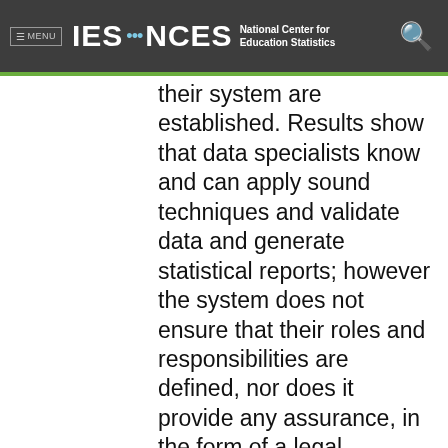≡ MENU  IES · NCES  National Center for Education Statistics
their system are established. Results show that data specialists know and can apply sound techniques and validate data and generate statistical reports; however the system does not ensure that their roles and responsibilities are defined, nor does it provide any assurance, in the form of a legal mandate, that they receive the data they require. Data specialists provide timely services, but the system cannot